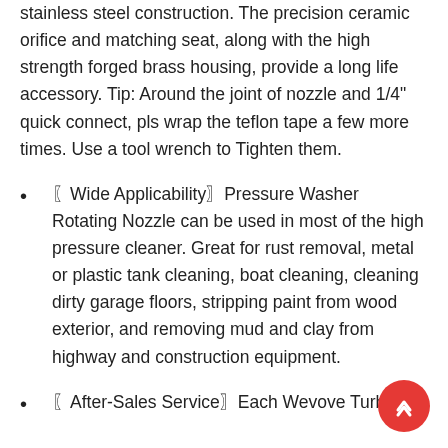stainless steel construction. The precision ceramic orifice and matching seat, along with the high strength forged brass housing, provide a long life accessory. Tip: Around the joint of nozzle and 1/4" quick connect, pls wrap the teflon tape a few more times. Use a tool wrench to Tighten them.
〖Wide Applicability〗Pressure Washer Rotating Nozzle can be used in most of the high pressure cleaner. Great for rust removal, metal or plastic tank cleaning, boat cleaning, cleaning dirty garage floors, stripping paint from wood exterior, and removing mud and clay from highway and construction equipment.
〖After-Sales Service〗Each Wevove Turbo